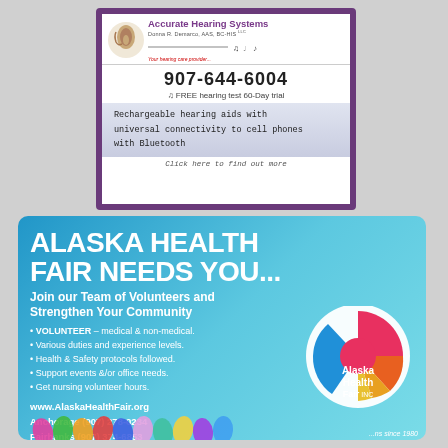[Figure (infographic): Accurate Hearing Systems advertisement with logo, phone number 907-644-6004, free hearing test 60-day trial offer, and info about rechargeable hearing aids with universal connectivity to cell phones with Bluetooth]
[Figure (infographic): Alaska Health Fair Needs You advertisement promoting volunteering, with bullet points about volunteer opportunities, contact info www.AlaskaHealthFair.org, Anchorage (907) 278-0234, Fairbanks (907) 374-6853, and Alaska Health Fair Inc logo with colorful hands at bottom]